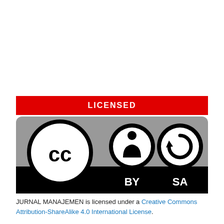[Figure (logo): Red bar with white bold text reading LICENSED, above a Creative Commons CC BY SA license badge on a gray/black background with three circular icons: CC logo, person/attribution icon, and share-alike circular arrow icon, with text BY and SA below the last two icons.]
JURNAL MANAJEMEN is licensed under a Creative Commons Attribution-ShareAlike 4.0 International License.